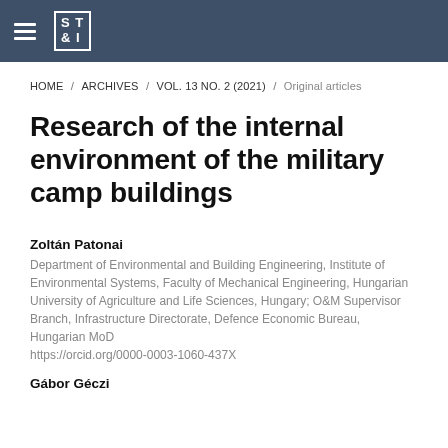ST&I [logo]
HOME / ARCHIVES / VOL. 13 NO. 2 (2021) / Original articles
Research of the internal environment of the military camp buildings
Zoltán Patonai
Department of Environmental and Building Engineering, Institute of Environmental Systems, Faculty of Mechanical Engineering, Hungarian University of Agriculture and Life Sciences, Hungary; O&M Supervisor Branch, Infrastructure Directorate, Defence Economic Bureau, Hungarian MoD
https://orcid.org/0000-0003-1060-437X
Gábor Géczi